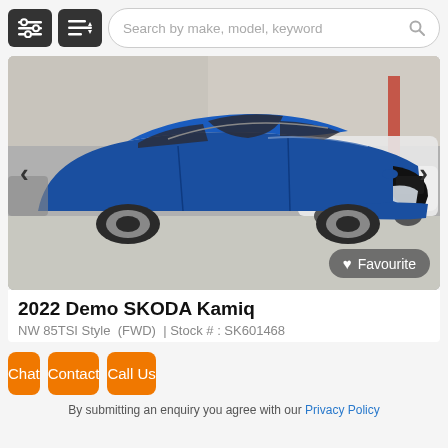[Figure (screenshot): Top navigation bar with two dark icon buttons (filter and sort) and a search bar reading 'Search by make, model, keyword']
[Figure (photo): Photo of a blue 2022 SKODA Kamiq SUV in a car dealership showroom, with other white vehicles visible in the background. Navigation arrows on left and right. A 'Favourite' button with heart icon in bottom-right corner.]
2022 Demo SKODA Kamiq
NW 85TSI Style  (FWD)  |  Stock # : SK601468
Chat
Contact
Call Us
By submitting an enquiry you agree with our Privacy Policy